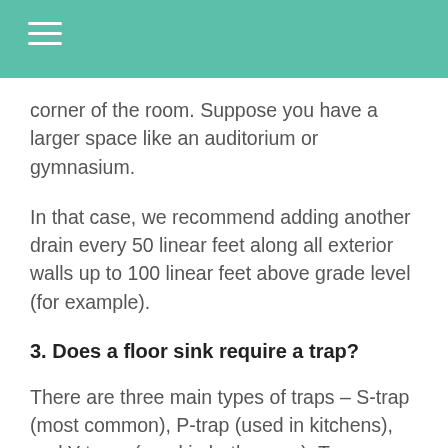corner of the room. Suppose you have a larger space like an auditorium or gymnasium.
In that case, we recommend adding another drain every 50 linear feet along all exterior walls up to 100 linear feet above grade level (for example).
3. Does a floor sink require a trap?
There are three main types of traps – S-trap (most common), P-trap (used in kitchens), and Y-traps (used in bathrooms). Traps are used to prevent